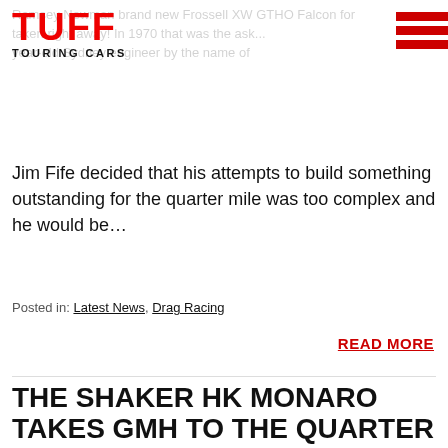Ramsey Newman brand new Frossell XW GTHO Falcon for taken right away! In 1970 that was the ask... year-old Sydney engineer by the name of
[Figure (logo): TUFF TOURING CARS logo in red and black]
Jim Fife decided that his attempts to build something outstanding for the quarter mile was too complex and he would be…
Posted in: Latest News, Drag Racing
READ MORE
THE SHAKER HK MONARO TAKES GMH TO THE QUARTER MILE
BY DAVID COOK | AUSTRALIAN DRAG RACING HISTORY